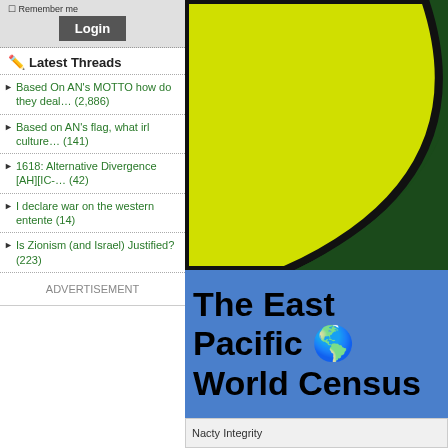Remember me  Login
Latest Threads
Based On AN's MOTTO how do they deal… (2,886)
Based on AN's flag, what irl culture… (141)
1618: Alternative Divergence [AH][IC-… (42)
I declare war on the western entente (14)
Is Zionism (and Israel) Justified? (223)
ADVERTISEMENT
[Figure (illustration): East Pacific flag — dark green field with yellow/lime arc and black outline in upper portion]
The East Pacific 🌎 World Census
Nacty Integrity